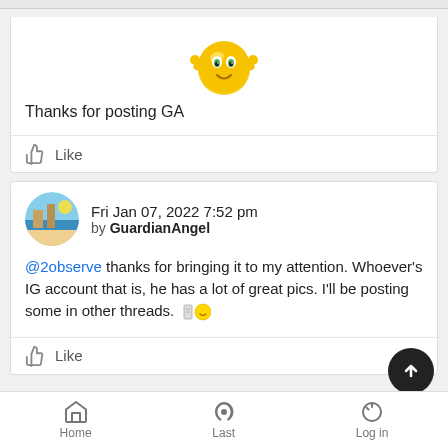[Figure (illustration): Yellow smiley emoji with arms raised up]
Thanks for posting GA
Like
Fri Jan 07, 2022 7:52 pm by GuardianAngel
@2observe thanks for bringing it to my attention. Whoever's IG account that is, he has a lot of great pics. I'll be posting some in other threads.
Like
Home  Last  Log in